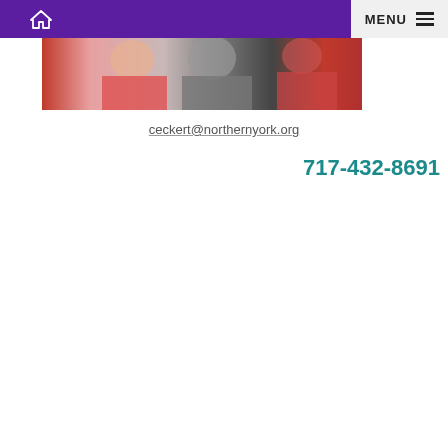Home | MENU
[Figure (photo): A cropped photo of people wearing red, gray, and red clothing]
ceckert@northernyork.org
717-432-8691